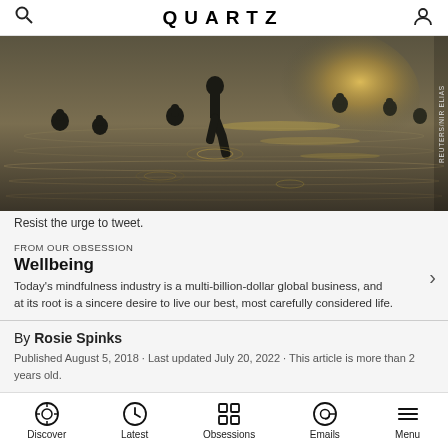QUARTZ
[Figure (photo): People standing and wading in water at sunset/dusk, silhouettes visible against golden shimmering water surface. A person appears to be jumping or walking in the center foreground.]
Resist the urge to tweet.
FROM OUR OBSESSION
Wellbeing
Today’s mindfulness industry is a multi-billion-dollar global business, and at its root is a sincere desire to live our best, most carefully considered life.
By Rosie Spinks
Published August 5, 2018 · Last updated July 20, 2022 · This article is more than 2 years old.
Discover   Latest   Obsessions   Emails   Menu